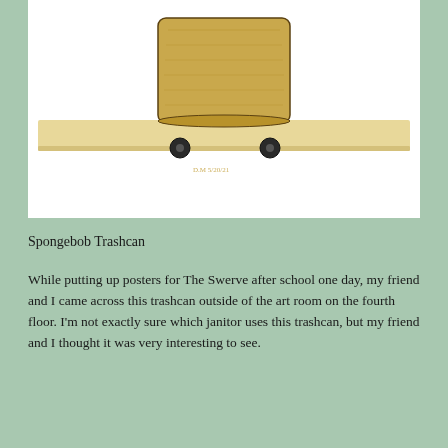[Figure (illustration): A child's watercolor drawing of a trashcan (Spongebob-themed) with a cylindrical golden-tan body sitting on a flat surface with two black wheels visible. Signed 'D.M 5/20/21' in small yellow handwriting at the bottom center.]
Spongebob Trashcan
While putting up posters for The Swerve after school one day, my friend and I came across this trashcan outside of the art room on the fourth floor. I'm not exactly sure which janitor uses this trashcan, but my friend and I thought it was very interesting to see.